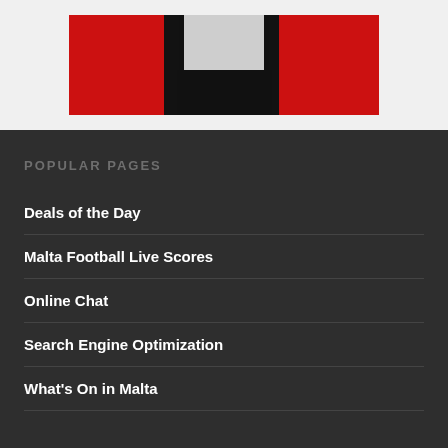[Figure (photo): Partial photo of a person wearing dark pants and a white top against a red background, cropped at the top]
POPULAR PAGES
Deals of the Day
Malta Football Live Scores
Online Chat
Search Engine Optimization
What's On in Malta